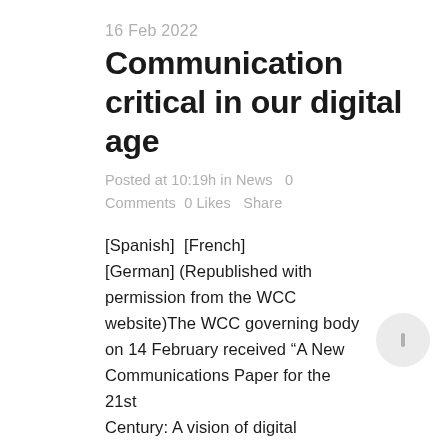16 Feb 2022
Communication critical in our digital age
Posted at 10:19h in News   0 Comments   0 Likes   Share
[Spanish]  [French] [German] (Republished with permission from the WCC website)The WCC governing body on 14 February received “A New Communications Paper for the 21st Century: A vision of digital justice,”...
READ MORE